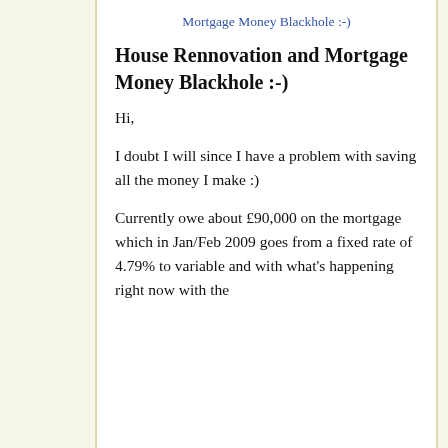Mortgage Money Blackhole :-)
House Rennovation and Mortgage Money Blackhole :-)
Hi,
I doubt I will since I have a problem with saving all the money I make :)
Currently owe about £90,000 on the mortgage which in Jan/Feb 2009 goes from a fixed rate of 4.79% to variable and with what's happening right now with the